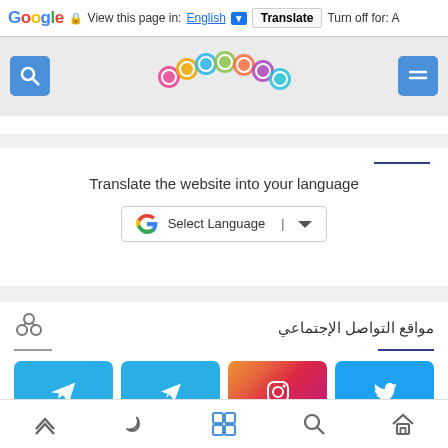Google  View this page in: English ▼  Translate  Turn off for: A
[Figure (screenshot): Mobile browser top section with search icons and decorative beads/rings image in center]
Translate the website into your language
[Figure (screenshot): Google Translate Select Language widget with dropdown arrow]
مواقع التواصل الإجتماعي
[Figure (screenshot): Four social media buttons: two Telegram (blue), Instagram (gradient), Twitter (blue)]
[Figure (screenshot): Mobile bottom navigation bar with up arrow, moon, grid, search, and home icons]